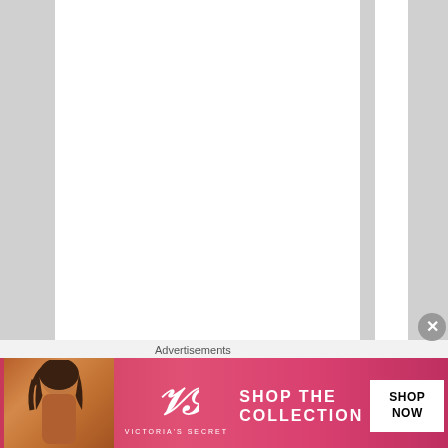believing it at first — because the man respo...
[Figure (other): Victoria's Secret advertisement banner showing a model, VS logo, 'SHOP THE COLLECTION' text and 'SHOP NOW' button]